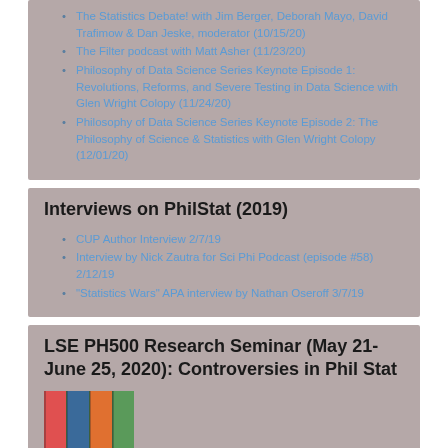The Statistics Debate! with Jim Berger, Deborah Mayo, David Trafimow & Dan Jeske, moderator (10/15/20)
The Filter podcast with Matt Asher (11/23/20)
Philosophy of Data Science Series Keynote Episode 1: Revolutions, Reforms, and Severe Testing in Data Science with Glen Wright Colopy (11/24/20)
Philosophy of Data Science Series Keynote Episode 2: The Philosophy of Science & Statistics with Glen Wright Colopy (12/01/20)
Interviews on PhilStat (2019)
CUP Author Interview 2/7/19
Interview by Nick Zautra for Sci Phi Podcast (episode #58) 2/12/19
"Statistics Wars" APA interview by Nathan Oseroff 3/7/19
LSE PH500 Research Seminar (May 21-June 25, 2020): Controversies in Phil Stat
[Figure (photo): Photo thumbnail showing colorful book covers or seminar materials]